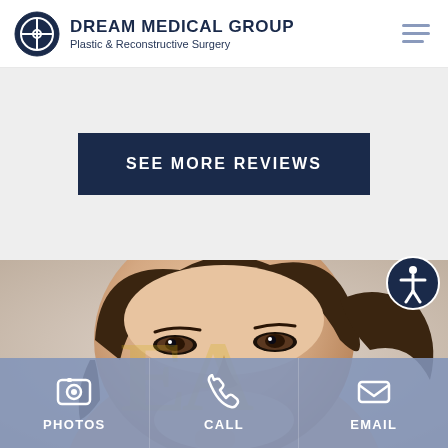DREAM MEDICAL GROUP Plastic & Reconstructive Surgery
SEE MORE REVIEWS
[Figure (photo): Close-up photo of a woman's face with natural makeup, hair pulled back, looking upward to the right. Watermark letters visible over the image.]
PHOTOS
CALL
EMAIL